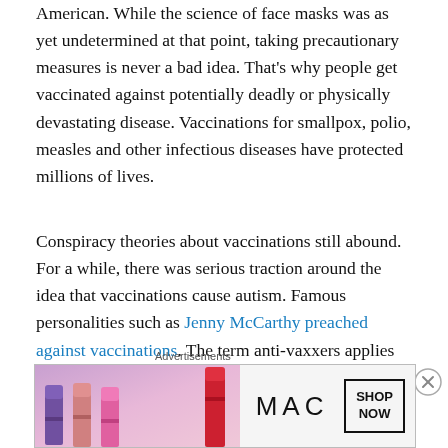American. While the science of face masks was as yet undetermined at that point, taking precautionary measures is never a bad idea. That's why people get vaccinated against potentially deadly or physically devastating disease. Vaccinations for smallpox, polio, measles and other infectious diseases have protected millions of lives.
Conspiracy theories about vaccinations still abound. For a while, there was serious traction around the idea that vaccinations cause autism. Famous personalities such as Jenny McCarthy preached against vaccinations. The term anti-vaxxers applies to millions of people who still claim that vaccinations, not the diseases they prevent, are more dangerous to human health.
[Figure (photo): MAC Cosmetics advertisement banner showing colorful lipsticks on the left and MAC logo with 'SHOP NOW' button on the right]